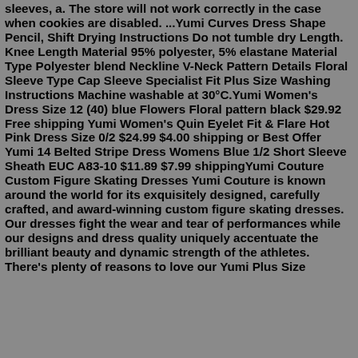sleeves, a. The store will not work correctly in the case when cookies are disabled. ...Yumi Curves Dress Shape Pencil, Shift Drying Instructions Do not tumble dry Length. Knee Length Material 95% polyester, 5% elastane Material Type Polyester blend Neckline V-Neck Pattern Details Floral Sleeve Type Cap Sleeve Specialist Fit Plus Size Washing Instructions Machine washable at 30°C.Yumi Women's Dress Size 12 (40) blue Flowers Floral pattern black $29.92 Free shipping Yumi Women's Quin Eyelet Fit & Flare Hot Pink Dress Size 0/2 $24.99 $4.00 shipping or Best Offer Yumi 14 Belted Stripe Dress Womens Blue 1/2 Short Sleeve Sheath EUC A83-10 $11.89 $7.99 shippingYumi Couture Custom Figure Skating Dresses Yumi Couture is known around the world for its exquisitely designed, carefully crafted, and award-winning custom figure skating dresses. Our dresses fight the wear and tear of performances while our designs and dress quality uniquely accentuate the brilliant beauty and dynamic strength of the athletes. There's plenty of reasons to love our Yumi Plus Size